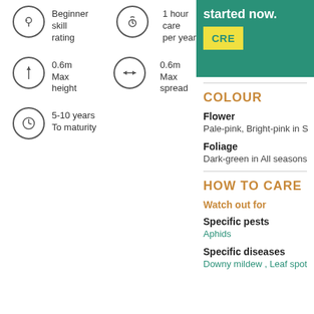Beginner skill rating
1 hour care per year
0.6m Max height
0.6m Max spread
5-10 years To maturity
started now.
CRE
COLOUR
Flower
Pale-pink, Bright-pink in S
Foliage
Dark-green in All seasons
HOW TO CARE
Watch out for
Specific pests
Aphids
Specific diseases
Downy mildew , Leaf spot